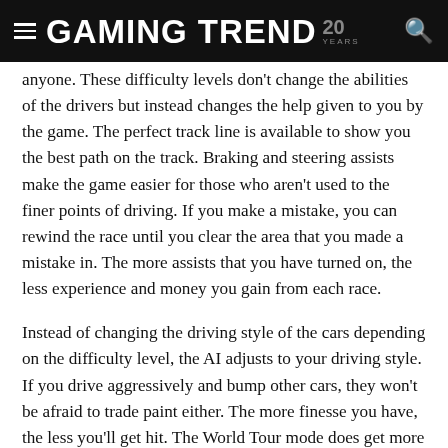GAMING TREND 20 YEARS
anyone. These difficulty levels don't change the abilities of the drivers but instead changes the help given to you by the game. The perfect track line is available to show you the best path on the track. Braking and steering assists make the game easier for those who aren't used to the finer points of driving. If you make a mistake, you can rewind the race until you clear the area that you made a mistake in. The more assists that you have turned on, the less experience and money you gain from each race.
Instead of changing the driving style of the cars depending on the difficulty level, the AI adjusts to your driving style. If you drive aggressively and bump other cars, they won't be afraid to trade paint either. The more finesse you have, the less you'll get hit. The World Tour mode does get more difficult, but it is more because of the trickiness of the tracks. The difficulty curve is gradual though, and the racing